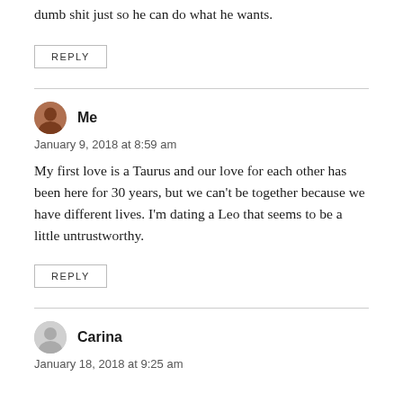dumb shit just so he can do what he wants.
REPLY
Me
January 9, 2018 at 8:59 am
My first love is a Taurus and our love for each other has been here for 30 years, but we can't be together because we have different lives. I'm dating a Leo that seems to be a little untrustworthy.
REPLY
Carina
January 18, 2018 at 9:25 am